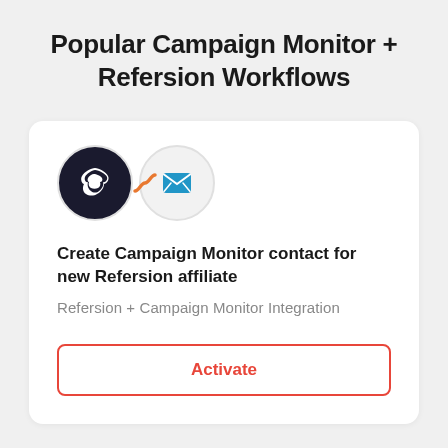Popular Campaign Monitor + Refersion Workflows
[Figure (logo): Two overlapping circles with logos: first circle has dark background with white snowflake/puzzle icon (Refersion), connected by an orange S-curve connector, second circle has a blue email/envelope icon (Campaign Monitor)]
Create Campaign Monitor contact for new Refersion affiliate
Refersion + Campaign Monitor Integration
Activate